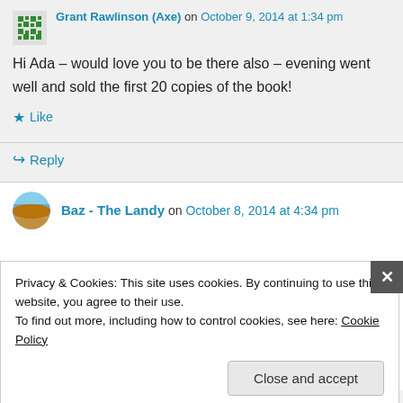Grant Rawlinson (Axe) on October 9, 2014 at 1:34 pm
Hi Ada – would love you to be there also – evening went well and sold the first 20 copies of the book!
Like
Reply
Baz - The Landy on October 8, 2014 at 4:34 pm
Privacy & Cookies: This site uses cookies. By continuing to use this website, you agree to their use.
To find out more, including how to control cookies, see here: Cookie Policy
Close and accept